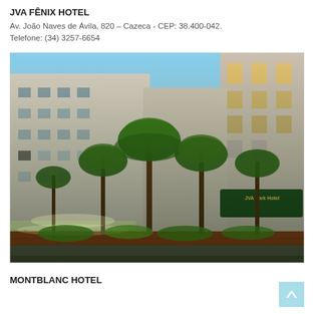JVA FÊNIX HOTEL
Av. João Naves de Ávila, 820 – Cazeca - CEP: 38.400-042.
Telefone: (34) 3257-6654
[Figure (photo): Exterior photo of JVA Park Hotel building at night, showing a multi-story white building with palm trees and illuminated entrance canopy with red brick retaining wall]
MONTBLANC HOTEL